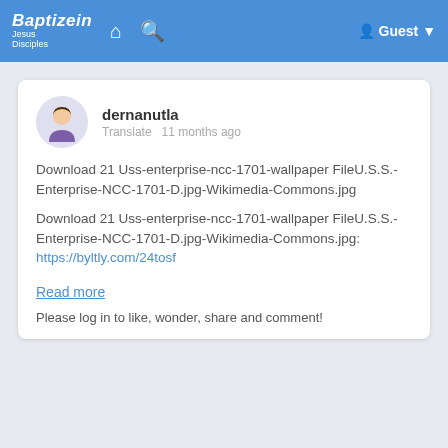Baptizein Jesus Disciples [home] [search] Guest
dernanutla
Translate  11 months ago
Download 21 Uss-enterprise-ncc-1701-wallpaper FileU.S.S.-Enterprise-NCC-1701-D.jpg-Wikimedia-Commons.jpg
Download 21 Uss-enterprise-ncc-1701-wallpaper FileU.S.S.-Enterprise-NCC-1701-D.jpg-Wikimedia-Commons.jpg:
https://byltly.com/24tosf
Read more
Please log in to like, wonder, share and comment!